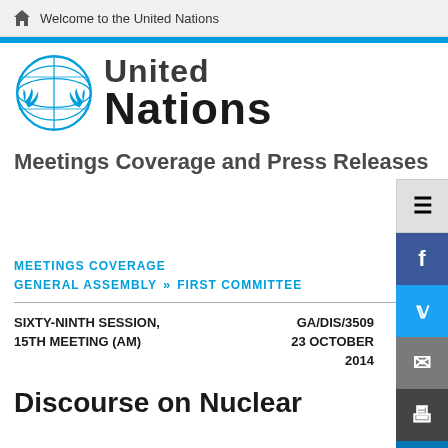Welcome to the United Nations
[Figure (logo): United Nations emblem and wordmark — 'United Nations' in bold black text alongside the UN globe emblem in blue]
Meetings Coverage and Press Releases
MEETINGS COVERAGE
GENERAL ASSEMBLY >> FIRST COMMITTEE
| SIXTY-NINTH SESSION, 15TH MEETING (AM) | GA/DIS/3509 23 OCTOBER 2014 |
Discourse on Nuclear